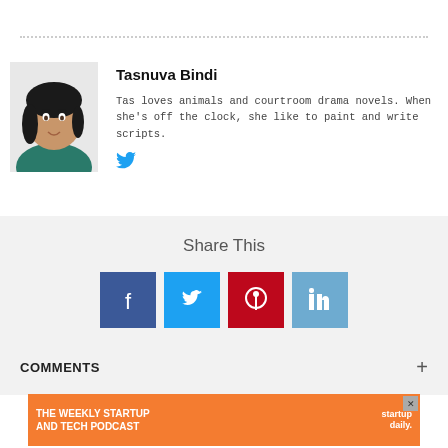[Figure (photo): Author photo of Tasnuva Bindi, a woman with dark hair wearing a dark teal outfit, head and shoulders portrait]
Tasnuva Bindi
Tas loves animals and courtroom drama novels. When she's off the clock, she like to paint and write scripts.
[Figure (logo): Twitter bird icon]
Share This
[Figure (infographic): Social share buttons: Facebook (blue), Twitter (light blue), Pinterest (red), LinkedIn (light blue)]
COMMENTS
[Figure (infographic): Advertisement banner: THE WEEKLY STARTUP AND TECH PODCAST with startup daily. branding on orange background]